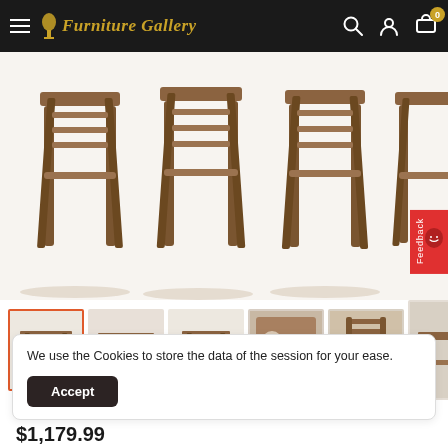Furniture Gallery - Navigation bar with logo, search, account, and cart icons
[Figure (photo): Close-up photo of wooden bar stools / counter-height chairs with ladder backs and cross-braced legs in a rustic brown finish, showing multiple chairs from below/side angle on white background]
[Figure (photo): Thumbnail 1 (selected/active): Full set of counter-height table with 4 bar stools]
[Figure (photo): Thumbnail 2: Counter-height dining set from slight angle]
[Figure (photo): Thumbnail 3: Counter-height table and chairs from side]
[Figure (photo): Thumbnail 4: Close-up top-down view of table surface with place settings]
[Figure (photo): Thumbnail 5: Close-up of chair back/seat detail]
[Figure (photo): Thumbnail 6: Room/lifestyle shot of dining set]
We use the Cookies to store the data of the session for your ease.
Accept
$1,179.99